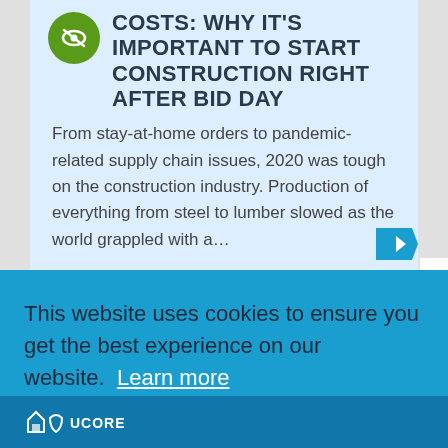COSTS: WHY IT'S IMPORTANT TO START CONSTRUCTION RIGHT AFTER BID DAY
From stay-at-home orders to pandemic-related supply chain issues, 2020 was tough on the construction industry. Production of everything from steel to lumber slowed as the world grappled with a…
This website uses cookies to ensure you get the best experience on our website. Learn more
Got it